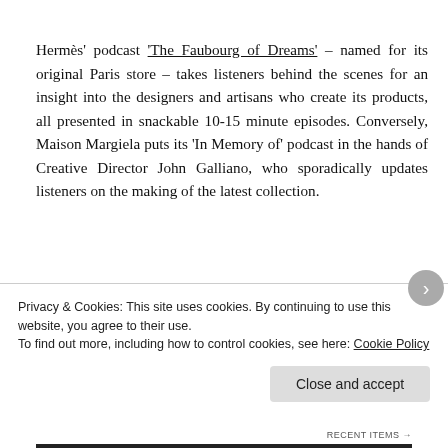Hermès' podcast 'The Faubourg of Dreams' – named for its original Paris store – takes listeners behind the scenes for an insight into the designers and artisans who create its products, all presented in snackable 10-15 minute episodes. Conversely, Maison Margiela puts its 'In Memory of' podcast in the hands of Creative Director John Galliano, who sporadically updates listeners on the making of the latest collection.
This approach has a more limited appeal, certainly
Privacy & Cookies: This site uses cookies. By continuing to use this website, you agree to their use.
To find out more, including how to control cookies, see here: Cookie Policy